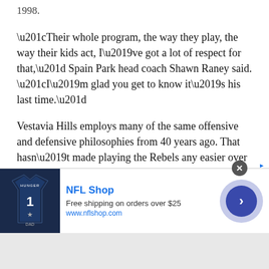1998.
“Their whole program, the way they play, the way their kids act, I’ve got a lot of respect for that,” Spain Park head coach Shawn Raney said. “I’m glad you get to know it’s his last time.”
Vestavia Hills employs many of the same offensive and defensive philosophies from 40 years ago. That hasn’t made playing the Rebels any easier over the years.
“They’re good at what they do because they know what they’re doing,” Hoover head coach Josh Niblett said.
Opposing coaches describe the Rebels as hard-nosed, disciplined and physical on a weekly and yearly basis.
[Figure (screenshot): NFL Shop advertisement banner with jersey image, NFL Shop title in blue, text 'Free shipping on orders over $25', URL www.nflshop.com, and a blue circular arrow button on the right.]